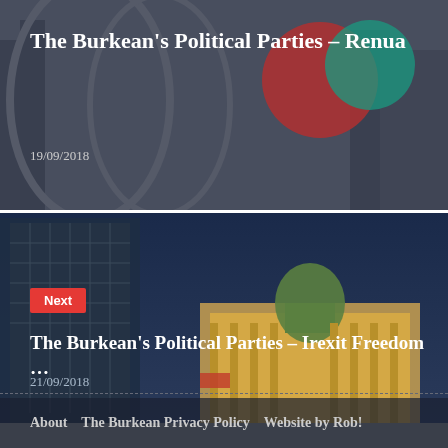The Burkean’s Political Parties – Renua
19/09/2018
[Figure (photo): City street scene with colorful circular overlay shapes (red and teal) over an architectural background]
Next
The Burkean’s Political Parties – Irexit Freedom …
21/09/2018
[Figure (photo): Dublin cityscape at night with illuminated Custom House building and blue sky, modern glass building on left]
About   The Burkean Privacy Policy   Website by Rob!